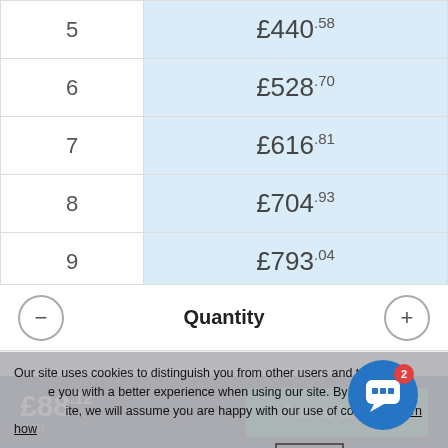| Quantity | Price |
| --- | --- |
| 5 | £440.58 |
| 6 | £528.70 |
| 7 | £616.81 |
| 8 | £704.93 |
| 9 | £793.04 |
Quantity
Our site uses cookies to distinguish you from other users and to help provide you with a better experience when using our site. By continuing to use our site, we will assume you are happy with our use of cookies. Learn how we manage cookies and how to change your settings here.
OK
[Figure (screenshot): Blue circular chat support button with speech bubble icon and red badge showing the number 2]
£88.12 +VAT
Add to basket